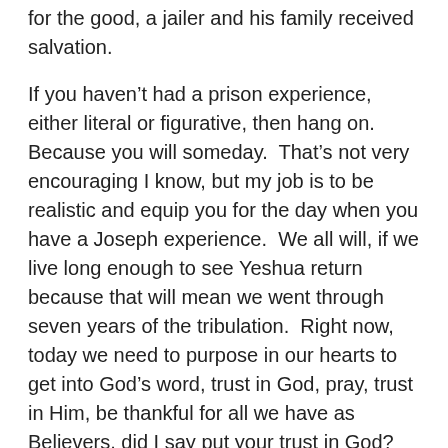for the good, a jailer and his family received salvation.
If you haven't had a prison experience, either literal or figurative, then hang on.  Because you will someday.  That's not very encouraging I know, but my job is to be realistic and equip you for the day when you have a Joseph experience.  We all will, if we live long enough to see Yeshua return because that will mean we went through seven years of the tribulation.  Right now, today we need to purpose in our hearts to get into God's word, trust in God, pray, trust in Him, be thankful for all we have as Believers, did I say put your trust in God?  That's how we get through the hard times.  And remember, it is all for the good.  Because if we trust in God and do His will, I believe we will come out on the other side victorious and perhaps brought salvation to someone along the way.  Stay strong.  It's all for the good.